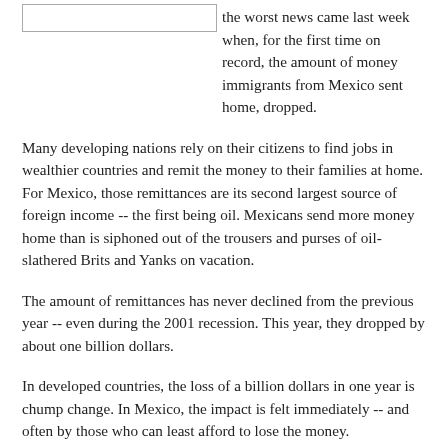[Figure (other): Small rectangular placeholder image in the top-left corner]
the worst news came last week when, for the first time on record, the amount of money immigrants from Mexico sent home, dropped.
Many developing nations rely on their citizens to find jobs in wealthier countries and remit the money to their families at home. For Mexico, those remittances are its second largest source of foreign income -- the first being oil. Mexicans send more money home than is siphoned out of the trousers and purses of oil-slathered Brits and Yanks on vacation.
The amount of remittances has never declined from the previous year -- even during the 2001 recession. This year, they dropped by about one billion dollars.
In developed countries, the loss of a billion dollars in one year is chump change. In Mexico, the impact is felt immediately -- and often by those who can least afford to lose the money.